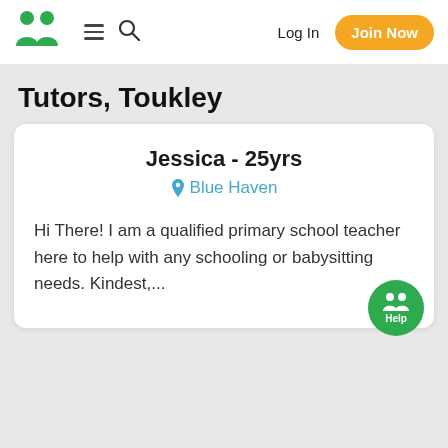[Figure (logo): Gumtree-style double figure green logo]
≡  🔍  Log In  Join Now
Tutors, Toukley
Jessica - 25yrs
Blue Haven
Hi There! I am a qualified primary school teacher here to help with any schooling or babysitting needs. Kindest,...